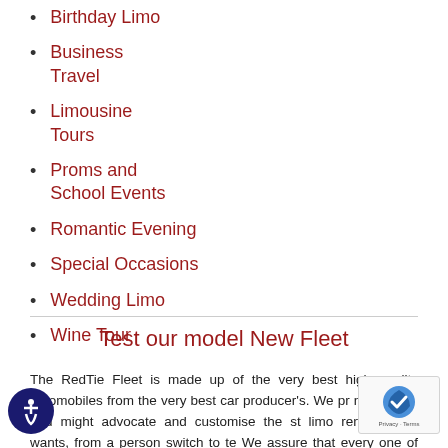Birthday Limo
Business Travel
Limousine Tours
Proms and School Events
Romantic Evening
Special Occasions
Wedding Limo
Wine Tour
Test our model New Fleet
The RedTie Fleet is made up of the very best high quality automobiles from the very best car producer's. We pr... ny choices and might advocate and customise the... st limo rent to your wants, from a person switch to te... We assure that every one of our vehicles will arrive on time.